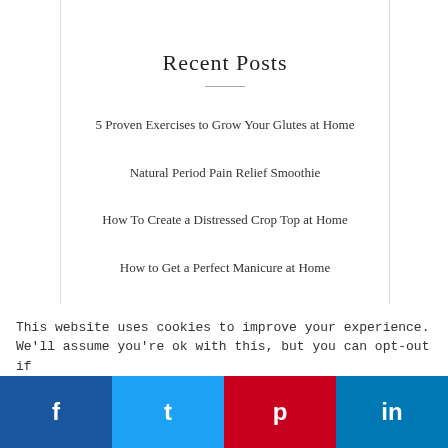Recent Posts
5 Proven Exercises to Grow Your Glutes at Home
Natural Period Pain Relief Smoothie
How To Create a Distressed Crop Top at Home
How to Get a Perfect Manicure at Home
How to Reverse Tie-Dye with Bleach
This website uses cookies to improve your experience. We'll assume you're ok with this, but you can opt-out if
f  t  p  in